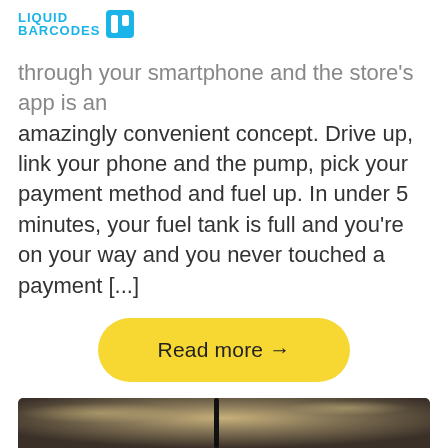LIQUID BARCODES
through your smartphone and the store's app is an amazingly convenient concept. Drive up, link your phone and the pump, pick your payment method and fuel up. In under 5 minutes, your fuel tank is full and you're on your way and you never touched a payment [...]
Read more →
[Figure (photo): Close-up photo of a blended drink or milkshake with whipped cream topping and a black straw, with a blurred bokeh background in warm sepia tones]